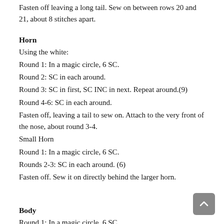Fasten off leaving a long tail. Sew on between rows 20 and 21, about 8 stitches apart.
Horn
Using the white:
Round 1: In a magic circle, 6 SC.
Round 2: SC in each around.
Round 3: SC in first, SC INC in next. Repeat around.(9)
Round 4-6: SC in each around.
Fasten off, leaving a tail to sew on. Attach to the very front of the nose, about round 3-4.
Small Horn
Round 1: In a magic circle, 6 SC.
Rounds 2-3: SC in each around. (6)
Fasten off. Sew it on directly behind the larger horn.
Body
Round 1: In a magic circle, 6 SC.
Round 2: SC INC in each around. (12)
Round 3: SC in first, SC INC in next. Repeat around. (18)